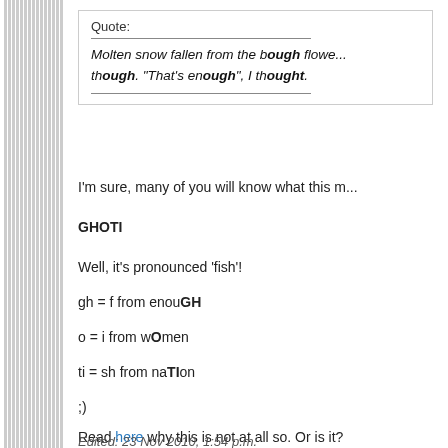Quote: Molten snow fallen from the bough flowe... though. "That's enough", I thought.
I'm sure, many of you will know what this m...
GHOTI
Well, it's pronounced 'fish'!
gh = f from enouGH
o = i from wOmen
ti = sh from naTIon
;)
Read here why this is not at all so. Or is it?
Edited: 23 Nov 2010, 1:54 p.m.